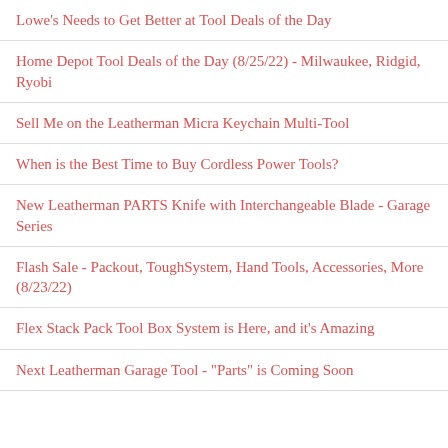Lowe's Needs to Get Better at Tool Deals of the Day
Home Depot Tool Deals of the Day (8/25/22) - Milwaukee, Ridgid, Ryobi
Sell Me on the Leatherman Micra Keychain Multi-Tool
When is the Best Time to Buy Cordless Power Tools?
New Leatherman PARTS Knife with Interchangeable Blade - Garage Series
Flash Sale - Packout, ToughSystem, Hand Tools, Accessories, More (8/23/22)
Flex Stack Pack Tool Box System is Here, and it's Amazing
Next Leatherman Garage Tool - "Parts" is Coming Soon